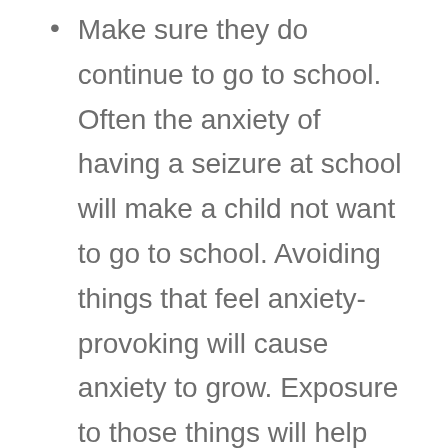Make sure they do continue to go to school. Often the anxiety of having a seizure at school will make a child not want to go to school. Avoiding things that feel anxiety-provoking will cause anxiety to grow. Exposure to those things will help your child – so